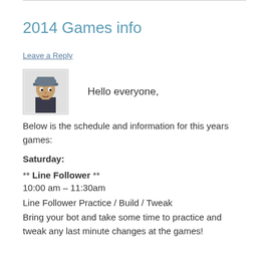2014 Games info
Leave a Reply
[Figure (illustration): Pixel art avatar of a person wearing a cap]
Hello everyone,
Below is the schedule and information for this years games:
Saturday:
** Line Follower **
10:00 am – 11:30am
Line Follower Practice / Build / Tweak
Bring your bot and take some time to practice and tweak any last minute changes at the games!